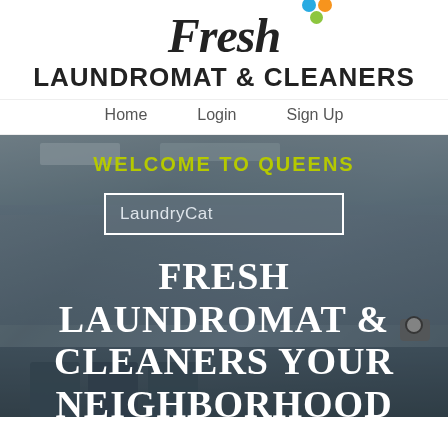[Figure (logo): Fresh Laundromat & Cleaners logo with colorful bubbles (blue, orange, green) above the word Fresh in italic font]
LAUNDROMAT & CLEANERS
Home   Login   Sign Up
[Figure (photo): Hero banner image of a laundromat interior with overlaid text: WELCOME TO QUEENS, LaundryCat search box, and FRESH LAUNDROMAT & CLEANERS YOUR NEIGHBORHOOD LAUNDROMAT AND]